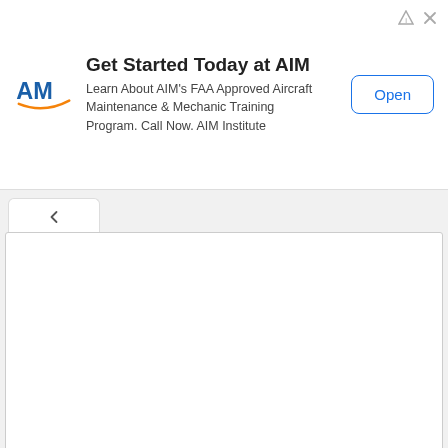[Figure (screenshot): Advertisement banner for AIM Institute: 'Get Started Today at AIM' with AIM logo, FAA Approved Aircraft Maintenance & Mechanic Training Program description, and an Open button. Corner icons for ad info and close.]
[Figure (screenshot): Web page UI showing a tab strip with a back-arrow chevron tab, a large empty comment textarea with resize handle, a Name * input field, an Email * input field, and an orange scroll-to-top button.]